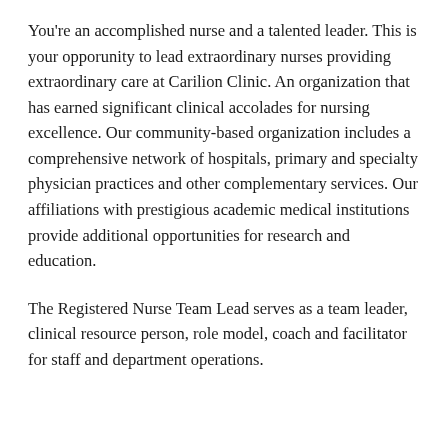You're an accomplished nurse and a talented leader. This is your opporunity to lead extraordinary nurses providing extraordinary care at Carilion Clinic. An organization that has earned significant clinical accolades for nursing excellence. Our community-based organization includes a comprehensive network of hospitals, primary and specialty physician practices and other complementary services. Our affiliations with prestigious academic medical institutions provide additional opportunities for research and education.
The Registered Nurse Team Lead serves as a team leader, clinical resource person, role model, coach and facilitator for staff and department operations.